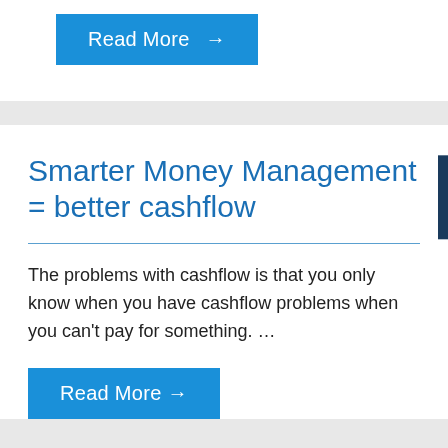[Figure (other): Blue 'Read More →' button at top of page, partially visible]
Smarter Money Management = better cashflow
The problems with cashflow is that you only know when you have cashflow problems when you can't pay for something. …
[Figure (other): Blue 'Read More →' button at bottom of page, partially visible]